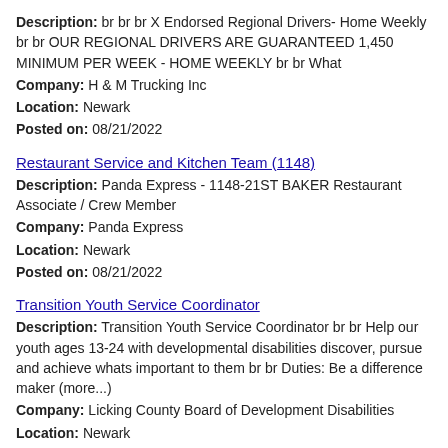Description: br br br X Endorsed Regional Drivers- Home Weekly br br OUR REGIONAL DRIVERS ARE GUARANTEED 1,450 MINIMUM PER WEEK - HOME WEEKLY br br What
Company: H & M Trucking Inc
Location: Newark
Posted on: 08/21/2022
Restaurant Service and Kitchen Team (1148)
Description: Panda Express - 1148-21ST BAKER Restaurant Associate / Crew Member
Company: Panda Express
Location: Newark
Posted on: 08/21/2022
Transition Youth Service Coordinator
Description: Transition Youth Service Coordinator br br Help our youth ages 13-24 with developmental disabilities discover, pursue and achieve whats important to them br br Duties: Be a difference maker (more...)
Company: Licking County Board of Development Disabilities
Location: Newark
Posted on: 08/21/2022
Salary in Columbus, Ohio Area | More details for